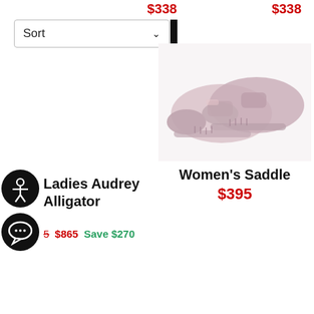$338 (left price, top, red)
$338 (right price, top, red)
Sort (dropdown)
[Figure (photo): Women's saddle shoes, shinny silver/pink leather, two shoes overlapping, seen from the side]
[Figure (other): Accessibility icon circle and chat bubble icon circle, black circles]
Ladies Audrey Alligator
$5  $865  Save $270
Women's Saddle
$395